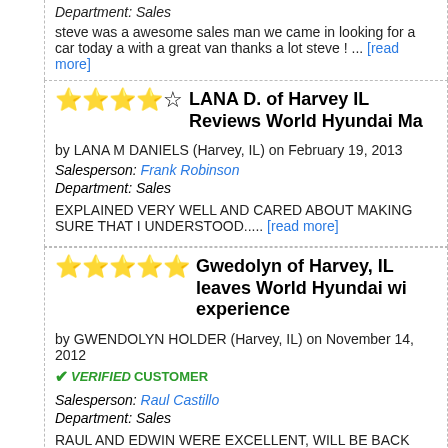Department: Sales
steve was a awesome sales man we came in looking for a car today a with a great van thanks a lot steve ! ... [read more]
LANA D. of Harvey IL Reviews World Hyundai Ma
by LANA M DANIELS (Harvey, IL) on February 19, 2013
Salesperson: Frank Robinson
Department: Sales
EXPLAINED VERY WELL AND CARED ABOUT MAKING SURE THAT I UNDERSTOOD..... [read more]
Gwedolyn of Harvey, IL leaves World Hyundai wi experience
by GWENDOLYN HOLDER (Harvey, IL) on November 14, 2012
VERIFIED CUSTOMER
Salesperson: Raul Castillo
Department: Sales
RAUL AND EDWIN WERE EXCELLENT, WILL BE BACK AGAIN WITH DAUGHTER . THANKYOU.... [read more]